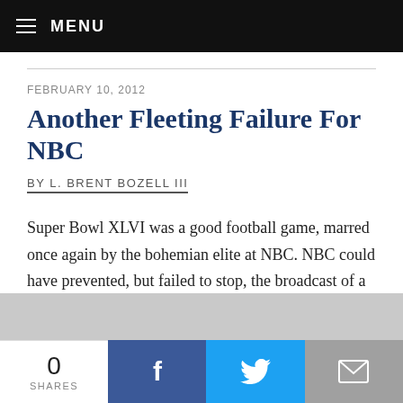MENU
FEBRUARY 10, 2012
Another Fleeting Failure For NBC
BY L. BRENT BOZELL III
Super Bowl XLVI was a good football game, marred once again by the bohemian elite at NBC. NBC could have prevented, but failed to stop, the broadcast of a female rapper "flipping the bird" at 114 million viewers during Madonna's halftime show. It was another "fleeting
0 SHARES | Facebook | Twitter | Email